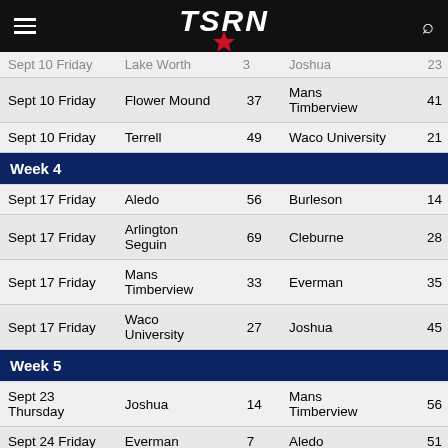TSRN
| Date | Team 1 | Score 1 | Team 2 | Score 2 |
| --- | --- | --- | --- | --- |
| Sept 10 Friday | Lake Worth | 3 | Joshua | 23 |
| Sept 10 Friday | Flower Mound | 37 | Mans Timberview | 41 |
| Sept 10 Friday | Terrell | 49 | Waco University | 21 |
| Week 4 |  |  |  |  |
| Sept 17 Friday | Aledo | 56 | Burleson | 14 |
| Sept 17 Friday | Arlington Seguin | 69 | Cleburne | 28 |
| Sept 17 Friday | Mans Timberview | 33 | Everman | 35 |
| Sept 17 Friday | Waco University | 27 | Joshua | 45 |
| Week 5 |  |  |  |  |
| Sept 23 Thursday | Joshua | 14 | Mans Timberview | 56 |
| Sept 24 Friday | Everman | 7 | Aledo | 51 |
| Sept 24 Friday | Arlington Seguin | 28 | Burleson | 41 |
| Sept 24 Friday | Cleburne | 45 | Waco University | 0 |